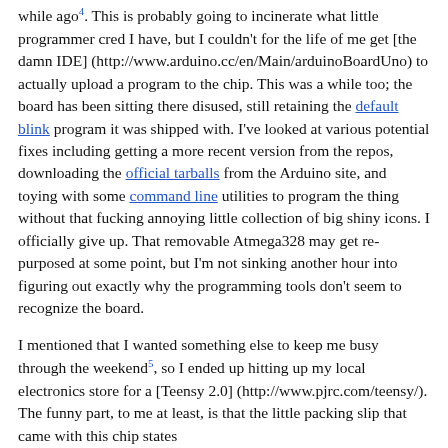while ago4. This is probably going to incinerate what little programmer cred I have, but I couldn't for the life of me get [the damn IDE] (http://www.arduino.cc/en/Main/arduinoBoardUno) to actually upload a program to the chip. This was a while too; the board has been sitting there disused, still retaining the default blink program it was shipped with. I've looked at various potential fixes including getting a more recent version from the repos, downloading the official tarballs from the Arduino site, and toying with some command line utilities to program the thing without that fucking annoying little collection of big shiny icons. I officially give up. That removable Atmega328 may get re-purposed at some point, but I'm not sinking another hour into figuring out exactly why the programming tools don't seem to recognize the board.
I mentioned that I wanted something else to keep me busy through the weekend5, so I ended up hitting up my local electronics store for a [Teensy 2.0] (http://www.pjrc.com/teensy/). The funny part, to me at least, is that the little packing slip that came with this chip states